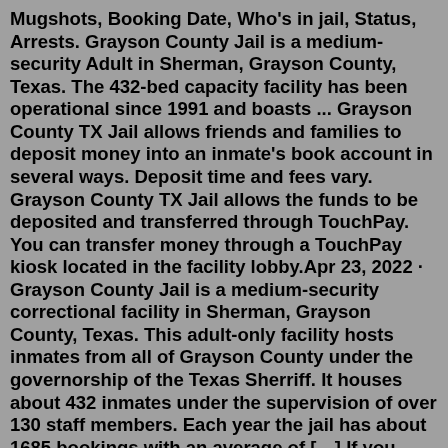Mugshots, Booking Date, Who's in jail, Status, Arrests. Grayson County Jail is a medium-security Adult in Sherman, Grayson County, Texas. The 432-bed capacity facility has been operational since 1991 and boasts ... Grayson County TX Jail allows friends and families to deposit money into an inmate's book account in several ways. Deposit time and fees vary. Grayson County TX Jail allows the funds to be deposited and transferred through TouchPay. You can transfer money through a TouchPay kiosk located in the facility lobby.Apr 23, 2022 · Grayson County Jail is a medium-security correctional facility in Sherman, Grayson County, Texas. This adult-only facility hosts inmates from all of Grayson County under the governorship of the Texas Sherriff. It houses about 432 inmates under the supervision of over 130 staff members. Each year the jail has about 1685 bookings with an average of […] If you want to schedule a visit or send mail/money to an inmate in Carter County Detention Center, please call the jail at (606) 475-1606